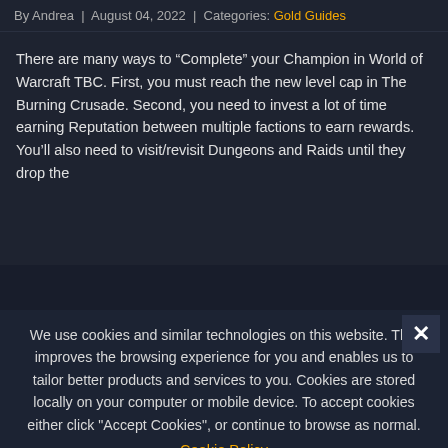By Andrea | August 04, 2022 | Categories: Gold Guides
There are many ways to “Complete” your Champion in World of Warcraft TBC. First, you must reach the new level cap in The Burning Crusade. Second, you need to invest a lot of time earning Reputation between multiple factions to earn rewards. You’ll also need to visit/revisit Dungeons and Raids until they drop the
We use cookies and similar technologies on this website. This improves the browsing experience for you and enables us to tailor better products and services to you. Cookies are stored locally on your computer or mobile device. To accept cookies either click “Accept Cookies”, or continue to browse as normal.
Cookie Policy
✓ ACCEPT COOKIES
Cookie Settings and Details ▾